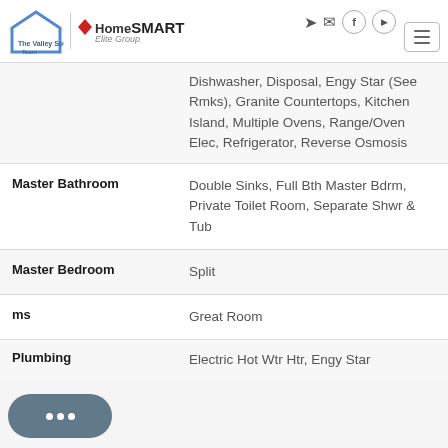The Valley Solutions Team / HomeSmart Elite Group
| Category | Details |
| --- | --- |
|  | Dishwasher, Disposal, Engy Star (See Rmks), Granite Countertops, Kitchen Island, Multiple Ovens, Range/Oven Elec, Refrigerator, Reverse Osmosis |
| Master Bathroom | Double Sinks, Full Bth Master Bdrm, Private Toilet Room, Separate Shwr & Tub |
| Master Bedroom | Split |
| [Living/Great] Rooms | Great Room |
| Plumbing | Electric Hot Wtr Htr, Engy Star |